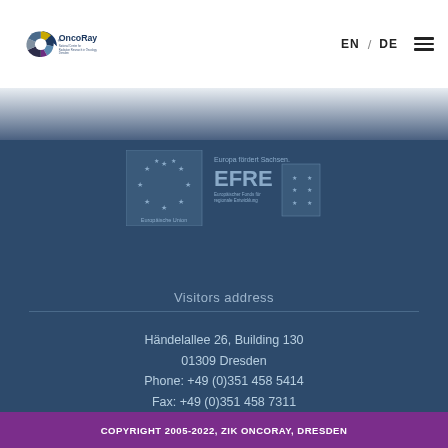[Figure (logo): OncoRay logo - National Center for Radiation Research in Oncology, Dresden]
EN / DE
[Figure (logo): EU EFRE logo - Europäische Union / Europa fördert Sachsen. EFRE Europäischer Fonds für regionale Entwicklung]
Visitors address
Händelallee 26, Building 130
01309 Dresden
Phone: +49 (0)351 458 5414
Fax: +49 (0)351 458 7311
COPYRIGHT 2005-2022, ZIK ONCORAY, DRESDEN